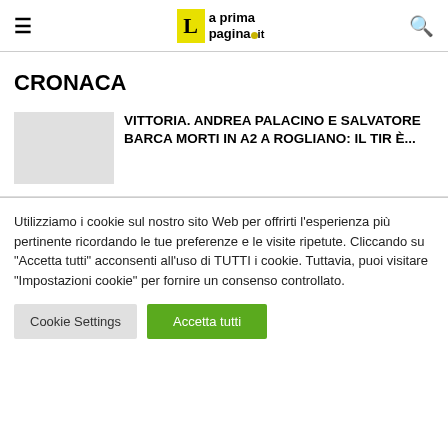La prima pagina .it
CRONACA
VITTORIA. ANDREA PALACINO E SALVATORE BARCA MORTI IN A2 A ROGLIANO: IL TIR È...
Utilizziamo i cookie sul nostro sito Web per offrirti l'esperienza più pertinente ricordando le tue preferenze e le visite ripetute. Cliccando su "Accetta tutti" acconsenti all'uso di TUTTI i cookie. Tuttavia, puoi visitare "Impostazioni cookie" per fornire un consenso controllato.
Cookie Settings | Accetta tutti